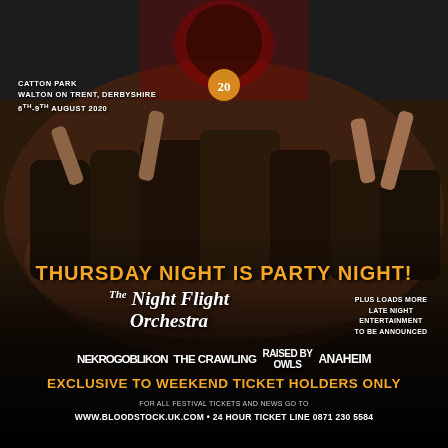[Figure (photo): Concert crowd photo with people raising hands and devil horns, dark background with festival logo (skull with crossed weapons and '20' anniversary badge) at the top]
CATTON PARK
WALTON ON TRENT, DERBYSHIRE
6TH-9TH AUGUST 2020
THURSDAY NIGHT IS PARTY NIGHT!
The Night Flight Orchestra
PLUS LOADS MORE LATE NIGHT ENTERTAINMENT TO BE ANNOUNCED
NEKROGOBLIKON  THE CRAWLING  RAISED BY OWLS  ANAHEIM
EXCLUSIVE TO WEEKEND TICKET HOLDERS ONLY
FOR ALL FESTIVAL TICKETS AND NEWS GO TO
WWW.BLOODSTOCK.UK.COM • 24 HOUR TICKET LINE 0871 230 5584